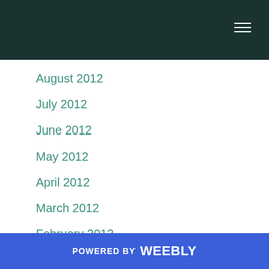August 2012
July 2012
June 2012
May 2012
April 2012
March 2012
February 2012
January 2012
December 2011
November 2011
October 2011
September 2011
POWERED BY weebly